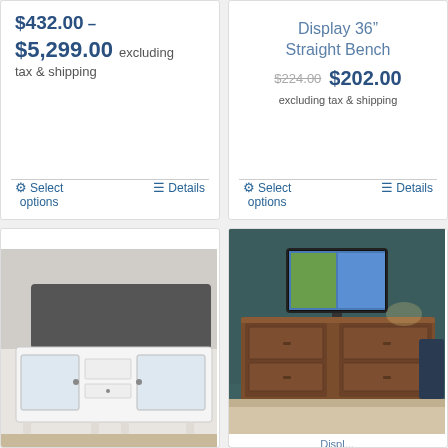$432.00 – $5,299.00 excluding tax & shipping
Select options | Details
Display 36" Straight Bench
$224.00  $202.00 excluding tax & shipping
Select options | Details
[Figure (photo): White painted wood TV console/coffee table with glass panel doors and drawers, displayed in a furniture showroom]
[Figure (photo): Dark walnut wood TV console/media cabinet with a flat-screen TV mounted above it, displayed against a dark teal/green wall]
Displ...